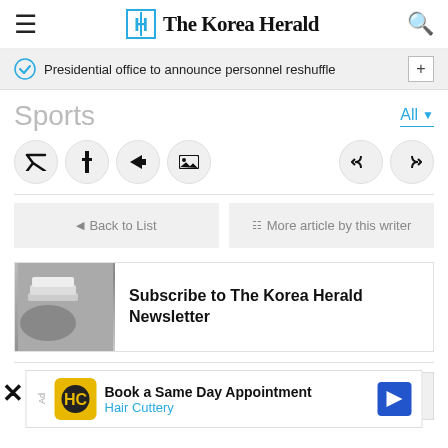The Korea Herald
Presidential office to announce personnel reshuffle
Sports
[Figure (screenshot): Row of social media icon circles (Twitter/X, Facebook, share, image) on left; two more icon circles on right]
Back to List
More article by this writer
[Figure (photo): Subscribe to The Korea Herald Newsletter banner with newspaper image on left]
[Figure (infographic): Advertisement: Book a Same Day Appointment - Hair Cuttery with logo and blue diamond arrow icon]